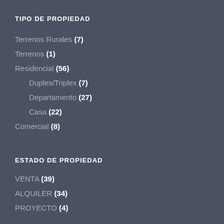TIPO DE PROPIEDAD
Terrenos Rurales (7)
Terrenos (1)
Residencial (56)
Duplex/Triplex (7)
Departamento (27)
Casa (22)
Comercial (8)
ESTADO DE PROPIEDAD
VENTA (39)
ALQUILER (34)
PROYECTO (4)